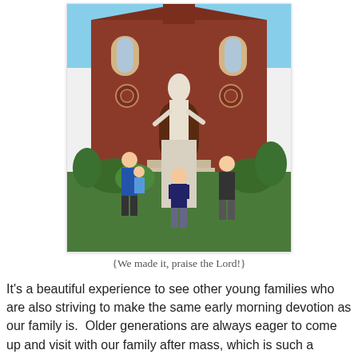[Figure (photo): Four boys posing in front of a white religious statue on a pedestal outside a red brick Catholic church. Two boys on the left, one older boy holding a toddler. One boy in the center leaning against the statue pedestal with hands on hips. One boy on the right leaning against the statue base. The church has Gothic-style windows and decorative elements. Green shrubs and grass in the background under a blue sky.]
{We made it, praise the Lord!}
It's a beautiful experience to see other young families who are also striving to make the same early morning devotion as our family is.  Older generations are always eager to come up and visit with our family after mass, which is such a